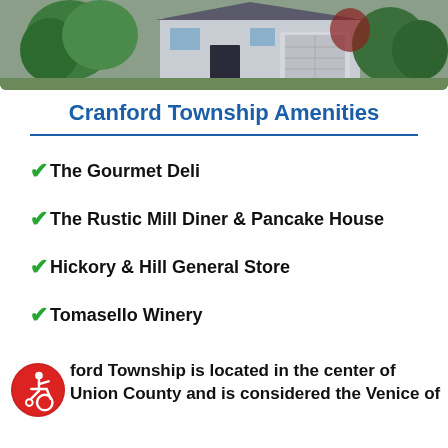[Figure (photo): Exterior photo of a residential house with garage and landscaping in Cranford Township]
Cranford Township Amenities
The Gourmet Deli
The Rustic Mill Diner & Pancake House
Hickory & Hill General Store
Tomasello Winery
Cranford Township is located in the center of Union County and is considered the Venice of